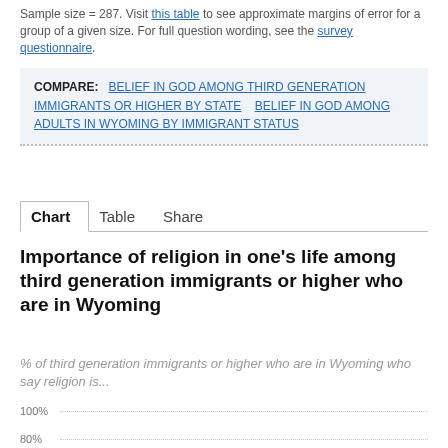Sample size = 287. Visit this table to see approximate margins of error for a group of a given size. For full question wording, see the survey questionnaire.
COMPARE: BELIEF IN GOD AMONG THIRD GENERATION IMMIGRANTS OR HIGHER BY STATE   BELIEF IN GOD AMONG ADULTS IN WYOMING BY IMMIGRANT STATUS
Chart   Table   Share
Importance of religion in one's life among third generation immigrants or higher who are in Wyoming
% of third generation immigrants or higher who are in Wyoming who say religion is...
[Figure (bar-chart): Partial bar chart showing y-axis with 100% and 80% labels and dotted gridlines; chart data cut off at bottom of page]